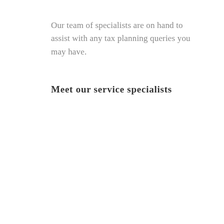Our team of specialists are on hand to assist with any tax planning queries you may have.
Meet our service specialists